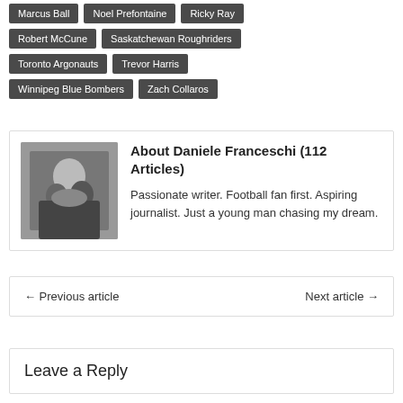Marcus Ball
Noel Prefontaine
Ricky Ray
Robert McCune
Saskatchewan Roughriders
Toronto Argonauts
Trevor Harris
Winnipeg Blue Bombers
Zach Collaros
[Figure (photo): Photo of Daniele Franceschi, a young man seated with others in background]
About Daniele Franceschi (112 Articles)
Passionate writer. Football fan first. Aspiring journalist. Just a young man chasing my dream.
← Previous article
Next article →
Leave a Reply